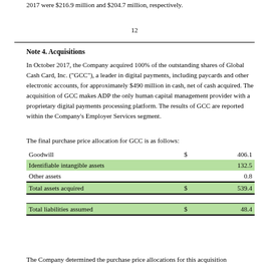2017 were $216.9 million and $204.7 million, respectively.
12
Note 4. Acquisitions
In October 2017, the Company acquired 100% of the outstanding shares of Global Cash Card, Inc. ("GCC"), a leader in digital payments, including paycards and other electronic accounts, for approximately $490 million in cash, net of cash acquired. The acquisition of GCC makes ADP the only human capital management provider with a proprietary digital payments processing platform. The results of GCC are reported within the Company's Employer Services segment.
The final purchase price allocation for GCC is as follows:
|  | $ |  |
| --- | --- | --- |
| Goodwill | $ | 406.1 |
| Identifiable intangible assets |  | 132.5 |
| Other assets |  | 0.8 |
| Total assets acquired | $ | 539.4 |
|  |  |  |
| Total liabilities assumed | $ | 48.4 |
The Company determined the purchase price allocations for this acquisition